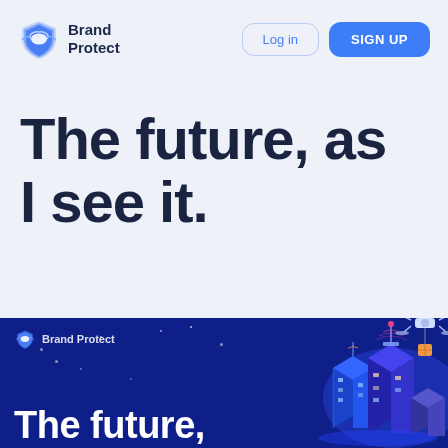[Figure (logo): Brand Protect shield logo with blue shield icon and text 'Brand Protect']
Log in
SIGN UP
The future, as I see it.
[Figure (screenshot): Dark blue banner section with Brand Protect logo, city/drone isometric illustration on right, and large white text 'The future.' at bottom]